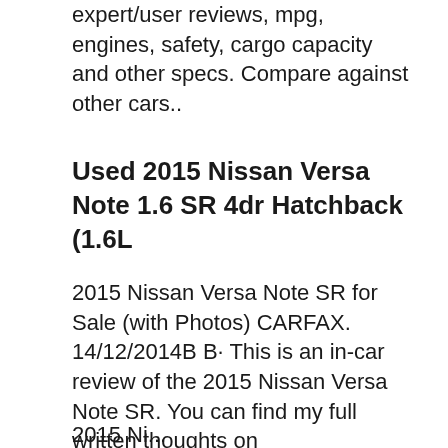expert/user reviews, mpg, engines, safety, cargo capacity and other specs. Compare against other cars..
Used 2015 Nissan Versa Note 1.6 SR 4dr Hatchback (1.6L
2015 Nissan Versa Note SR for Sale (with Photos) CARFAX. 14/12/2014B B· This is an in-car review of the 2015 Nissan Versa Note SR. You can find my full written thoughts on TopSpeed.com., In six months we've put 11,000 miles on our long-term 2015 Nissan Versa Note SR. Read the rest of this Versa Note SR update here at Motor Trend..
2015 Nissan... 2015 Ni...